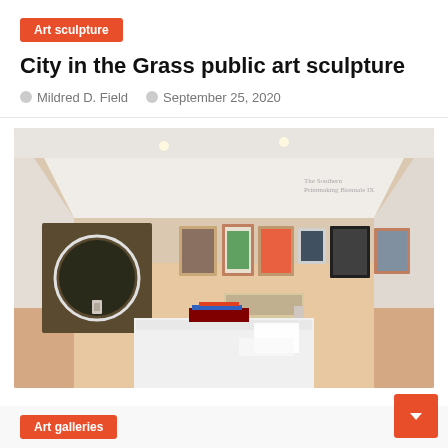Art sculpture
City in the Grass public art sculpture
Mildred D. Field   September 25, 2020
[Figure (photo): Interior of an art gallery showing multiple framed artworks hung on white walls, with a white pedestal in the foreground displaying items, wood floors, and text on the wall reading 'The Southern Printmaking Biennale IX']
Art galleries